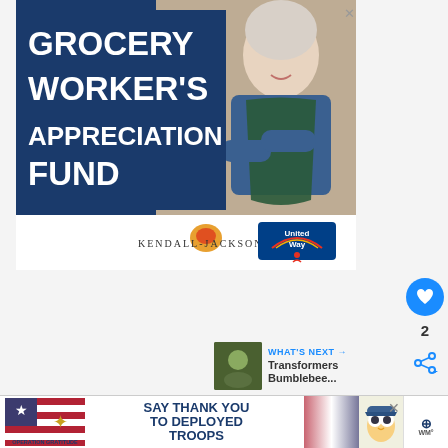[Figure (photo): Advertisement banner for Grocery Worker's Appreciation Fund, showing an older woman grocery worker smiling with arms crossed, with Kendall-Jackson and United Way logos at the bottom. Blue background with white bold text.]
2
[Figure (photo): What's Next panel showing Transformers Bumblebee... thumbnail]
Supergirl Season 3 premiers Monday, O...Season
[Figure (photo): Operation Gratitude bottom banner ad: SAY THANK YOU TO DEPLOYED TROOPS]